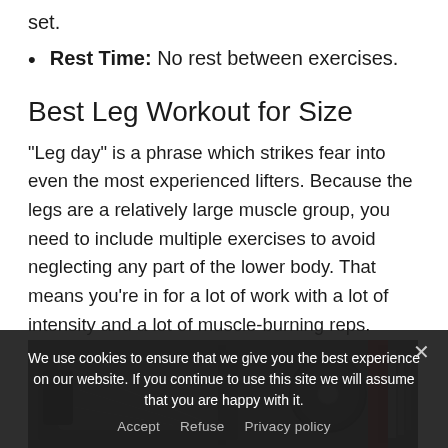set.
Rest Time: No rest between exercises.
Best Leg Workout for Size
“Leg day” is a phrase which strikes fear into even the most experienced lifters. Because the legs are a relatively large muscle group, you need to include multiple exercises to avoid neglecting any part of the lower body. That means you’re in for a lot of work with a lot of intensity and a lot of muscle-burning reps.
[Figure (photo): Black and white photo of gym equipment including a leg press machine and weight plates.]
We use cookies to ensure that we give you the best experience on our website. If you continue to use this site we will assume that you are happy with it.